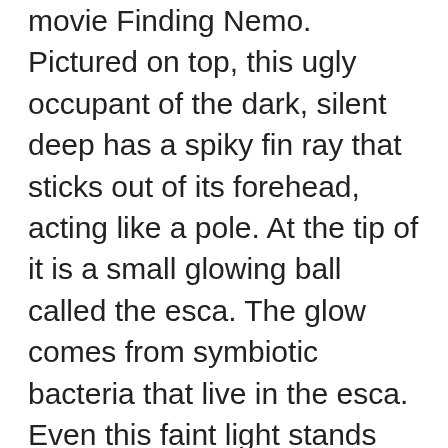movie Finding Nemo. Pictured on top, this ugly occupant of the dark, silent deep has a spiky fin ray that sticks out of its forehead, acting like a pole. At the tip of it is a small glowing ball called the esca. The glow comes from symbiotic bacteria that live in the esca. Even this faint light stands out in the blackness several miles below the surface and it attracts a variety of smaller fish that become prey. In some species only the female has the ability to glow and this helps to attract a mate. The male bites the underbelly and attaches to the female for life. The lantern fish is a smaller, slender